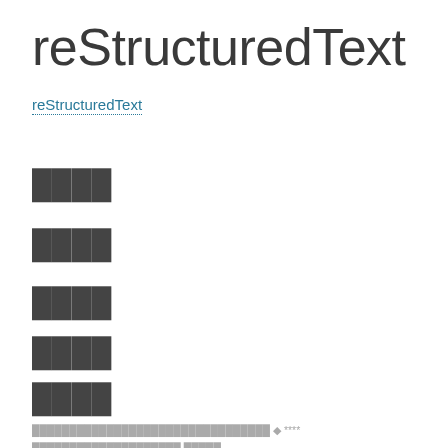reStructuredText
reStructuredText
████
████
████
████
████
████████████████████████████████ ◆ **** ████████████████████ █████